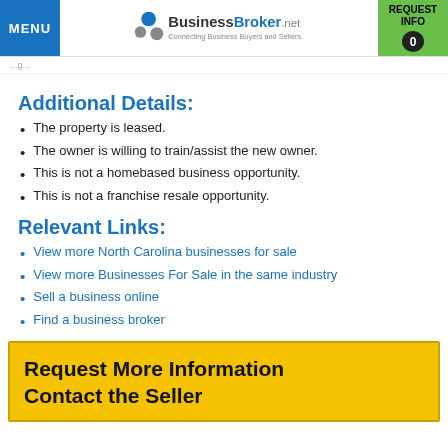BusinessBroker.net - Connecting Business Buyers and Sellers
Additional Details:
The property is leased.
The owner is willing to train/assist the new owner.
This is not a homebased business opportunity.
This is not a franchise resale opportunity.
Relevant Links:
View more North Carolina businesses for sale
View more Businesses For Sale in the same industry
Sell a business online
Find a business broker
Request More Information
Contact the Seller